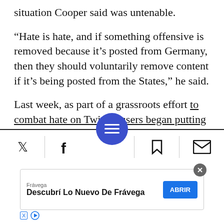situation Cooper said was untenable.
“Hate is hate, and if something offensive is removed because it’s posted from Germany, then they should voluntarily remove content if it’s being posted from the States,” he said.
Last week, as part of a grassroots effort to combat hate on Twitter, users began putting “echo” parentheses around their usernames. Anti-Semitic trolls have been using these triple parentheses, which the Anti-Defamation League has classified as...
[Figure (screenshot): Mobile browser toolbar with Twitter, Facebook, hamburger menu FAB button, bookmark, and email share icons. A Fravega advertisement banner at the bottom with ABRIR button.]